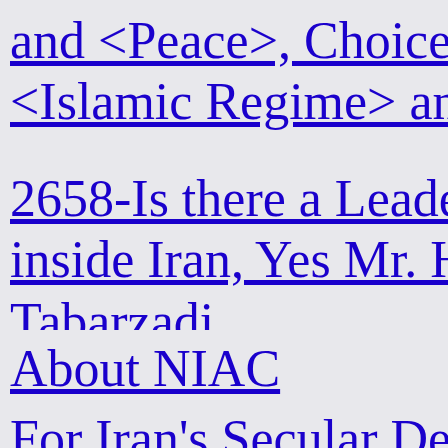and <Peace>, Choice <Islamic Regime> and
2658-Is there a Leader inside Iran, Yes Mr. H Tabarzadi
About NIAC
For Iran's Secular De